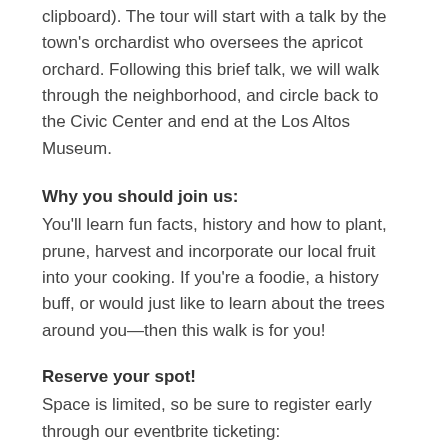clipboard). The tour will start with a talk by the town's orchardist who oversees the apricot orchard. Following this brief talk, we will walk through the neighborhood, and circle back to the Civic Center and end at the Los Altos Museum.
Why you should join us:
You'll learn fun facts, history and how to plant, prune, harvest and incorporate our local fruit into your cooking. If you're a foodie, a history buff, or would just like to learn about the trees around you—then this walk is for you!
Reserve your spot!
Space is limited, so be sure to register early through our eventbrite ticketing:
https://www.eventbrite.com/e/greentown-edible-tree-walk-tickets-35028273509
RSVPs are required.